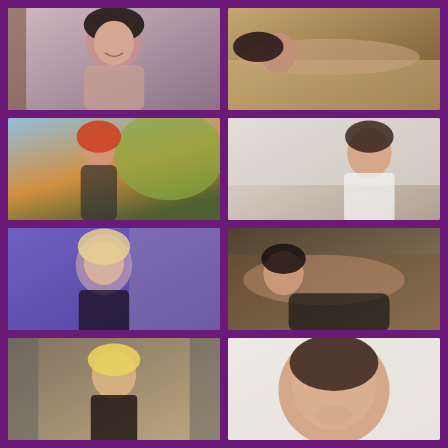[Figure (photo): Young woman with dark hair wearing black lingerie top, smiling, indoor setting]
[Figure (photo): Woman lying on bed wearing dark lingerie, dim warm lighting]
[Figure (photo): Woman with red hair posing outdoors with tattoos, wearing black, trees in background]
[Figure (photo): Woman in white open shirt sitting in bright room, dark hair]
[Figure (photo): Blonde woman in purple-lit room with brick wall background]
[Figure (photo): Dark-haired woman in black crop top and black skirt posing on floor]
[Figure (photo): Blonde woman in black strappy outfit posing indoors with curtains]
[Figure (photo): Young brunette woman with chin resting on hand, white background]